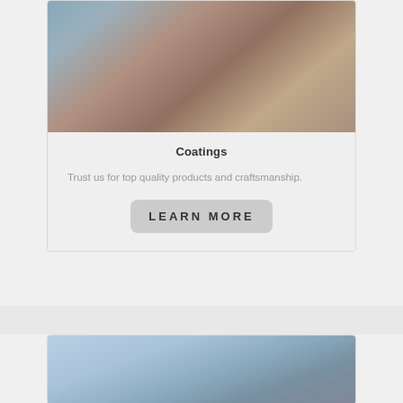[Figure (photo): Blurred outdoor photo showing what appears to be a wall or road surface with brown/tan tones and a white edge, partially visible at the top of the first card]
Coatings
Trust us for top quality products and craftsmanship.
LEARN MORE
[Figure (photo): Blurred outdoor photo showing a building exterior with blue sky, partially visible at the top of the second card]